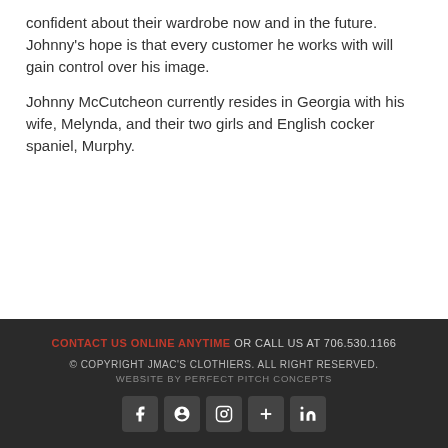confident about their wardrobe now and in the future. Johnny's hope is that every customer he works with will gain control over his image.
Johnny McCutcheon currently resides in Georgia with his wife, Melynda, and their two girls and English cocker spaniel, Murphy.
CONTACT US ONLINE ANYTIME OR CALL US AT 706.530.1166
© COPYRIGHT JMAC'S CLOTHIERS. ALL RIGHT RESERVED.
WEBSITE BY PERFECT PITCH CONCEPTS